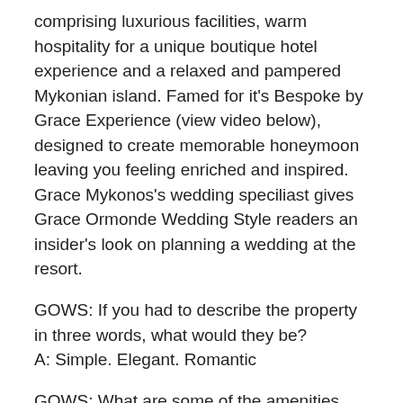comprising luxurious facilities, warm hospitality for a unique boutique hotel experience and a relaxed and pampered Mykonian island. Famed for it's Bespoke by Grace Experience (view video below), designed to create memorable honeymoon leaving you feeling enriched and inspired. Grace Mykonos's wedding speciliast gives Grace Ormonde Wedding Style readers an insider's look on planning a wedding at the resort.
GOWS: If you had to describe the property in three words, what would they be?
A: Simple. Elegant. Romantic
GOWS: What are some of the amenities and special activities that the property offers for a couple planning to have a weekend destination weddings?